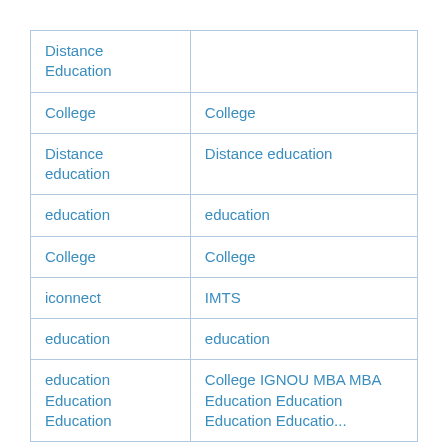| Distance Education |  |
| College | College |
| Distance education | Distance education |
| education | education |
| College | College |
| iconnect | IMTS |
| education | education |
| education Education Education... | College IGNOU MBA MBA Education Education Education Education... |